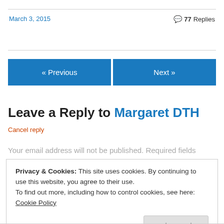March 3, 2015
💬 77 Replies
« Previous
Next »
Leave a Reply to Margaret DTH
Cancel reply
Your email address will not be published. Required fields
Privacy & Cookies: This site uses cookies. By continuing to use this website, you agree to their use. To find out more, including how to control cookies, see here: Cookie Policy
Close and accept